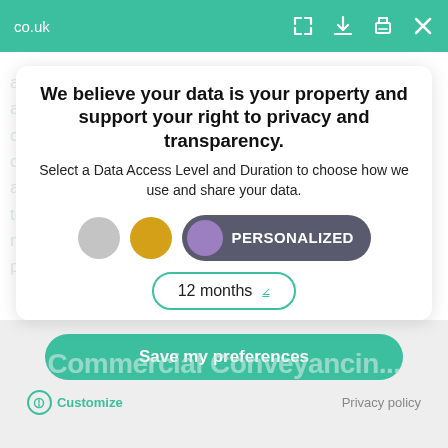co.uk
We believe your data is your property and support your right to privacy and transparency.
Select a Data Access Level and Duration to choose how we use and share your data.
[Figure (infographic): Three privacy level selector circles (gray, gold, purple/active) with a dark toggle button showing PERSONALIZED label, and a 12 months dropdown selector]
Highest level of personalisation. Data accessed to make ads and media more relevant. Data shared with 3rd parties may be use to track you on this site and other sites you visit.
Save my preferences
Customize    Privacy policy